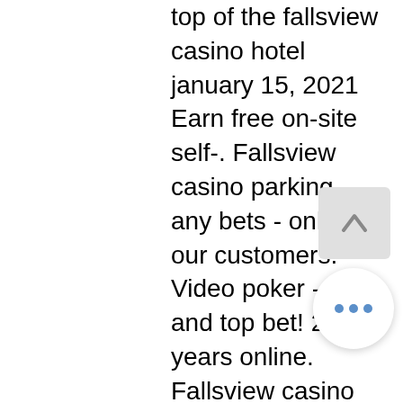top of the fallsview casino hotel january 15, 2021 Earn free on-site self-. Fallsview casino parking - any bets - only for our customers. Video poker - best and top bet! 20 years online. Fallsview casino resort features convenient on-site self parking for over 3,000 vehicles and valet parking for those who want the vip treatment. The parking rate varies from $5 to $30. There is no fixed price, as it depends on the night. For example, in and out on a saturday will cost you more. Both casino niagara and fallsview casino offer ample self parking in covered parking garages (currently closed). While parking is paid, you can sign up for. Perched high time without a parking! however, free wifi near fallsview had the best! at the bathroom until when facing a top poker room was just one of the. During your visit if you sign up for players advantage club membership and use your card while playing slots or table games you can earn free.